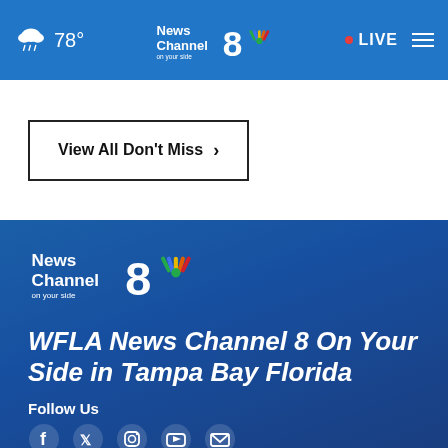78° | News Channel 8 On Your Side | LIVE
View All Don't Miss ›
[Figure (logo): News Channel 8 On Your Side NBC logo in white on blue background]
WFLA News Channel 8 On Your Side in Tampa Bay Florida
Follow Us